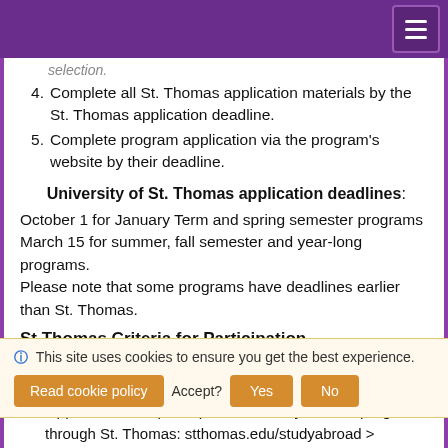4. Complete all St. Thomas application materials by the St. Thomas application deadline.
5. Complete program application via the program's website by their deadline.
University of St. Thomas application deadlines:
October 1 for January Term and spring semester programs March 15 for summer, fall semester and year-long programs. Please note that some programs have deadlines earlier than St. Thomas.
St Thomas Criteria for Participation
Minimum grade point average of 2.5.
Students may not apply for, maintain an approved application, nor participate in a Study Abroad program
through St. Thomas: stthomas.edu/studyabroad >